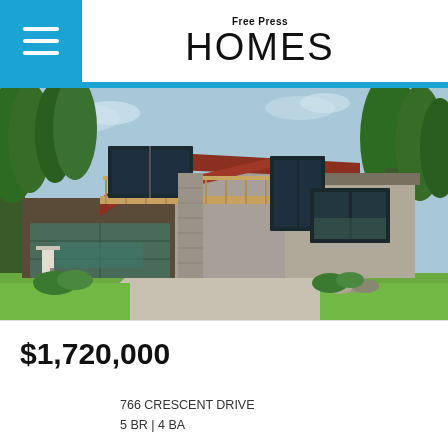Free Press HOMES
[Figure (photo): Modern two-story house exterior with wood and concrete facade, large windows, second-floor balcony, two-car garage, surrounded by trees and landscaping]
$1,720,000
766 CRESCENT DRIVE
5 BR | 4 BA